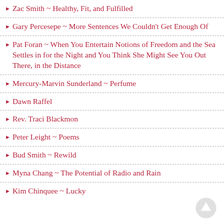Zac Smith ~ Healthy, Fit, and Fulfilled
Gary Percesepe ~ More Sentences We Couldn't Get Enough Of
Pat Foran ~ When You Entertain Notions of Freedom and the Sea Settles in for the Night and You Think She Might See You Out There, in the Distance
Mercury-Marvin Sunderland ~ Perfume
Dawn Raffel
Rev. Traci Blackmon
Peter Leight ~ Poems
Bud Smith ~ Rewild
Myna Chang ~ The Potential of Radio and Rain
Kim Chinquee ~ Lucky